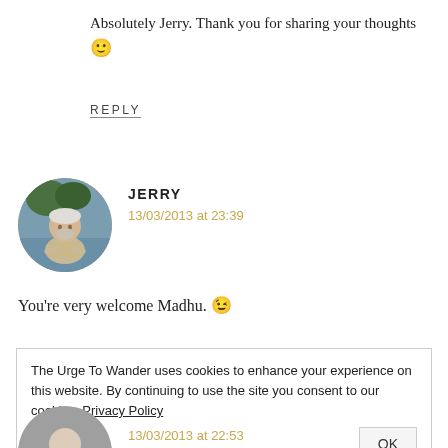Absolutely Jerry. Thank you for sharing your thoughts 🙂
REPLY
JERRY
13/03/2013 at 23:39
[Figure (photo): Circular avatar photo of Jerry, a person with light hair outdoors near water]
You're very welcome Madhu. 😉
The Urge To Wander uses cookies to enhance your experience on this website. By continuing to use the site you consent to our cookies. Privacy Policy
OK
13/03/2013 at 22:53